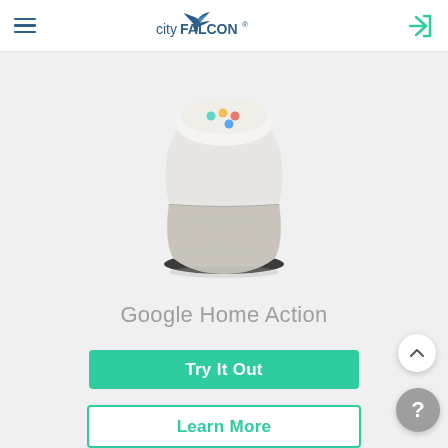cityFALCON
[Figure (photo): Google Home smart speaker device — white cylinder with gray fabric bottom and colorful LED dots on top]
Google Home Action
Try It Out
Learn More